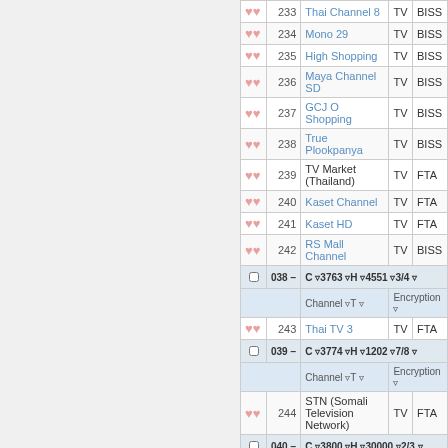|  | # | Channel | T | Encryption |
| --- | --- | --- | --- | --- |
| icons | 233 | Thai Channel 8 | TV | BISS |
| icons | 234 | Mono 29 | TV | BISS |
| icons | 235 | High Shopping | TV | BISS |
| icons | 236 | Maya Channel SD | TV | BISS |
| icons | 237 | GCJ O Shopping | TV | BISS |
| icons | 238 | True Plookpanya | TV | BISS |
| icons | 239 | TV Market (Thailand) | TV | FTA |
| icons | 240 | Kaset Channel | TV | FTA |
| icons | 241 | Kaset HD | TV | FTA |
| icons | 242 | RS Mall Channel | TV | BISS |
| tp | 038 | C 3763 H 4551 3/4 |  |  |
| hdr |  | Channel | T | Encryption |
| icons | 243 | Thai TV 3 | TV | FTA |
| tp | 039 | C 3774 H 1202 7/8 |  |  |
| hdr |  | Channel | T | Encryption |
| icons | 244 | STN (Somali Television Network) | TV | FTA |
| tp | 040 | C 3800 H 30000 2/3 |  |  |